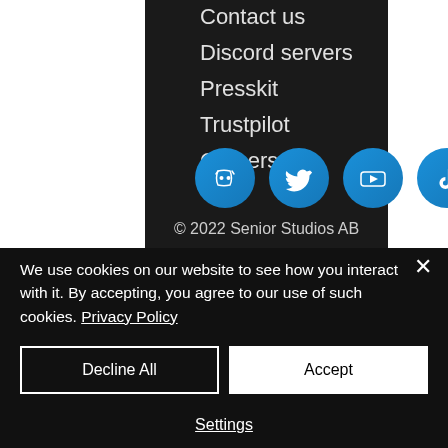Contact us
Discord servers
Presskit
Trustpilot
Careers
[Figure (illustration): Four circular blue social media icons: Discord, Twitter, YouTube, TikTok]
© 2022 Senior Studios AB
We use cookies on our website to see how you interact with it. By accepting, you agree to our use of such cookies. Privacy Policy
Decline All
Accept
Settings